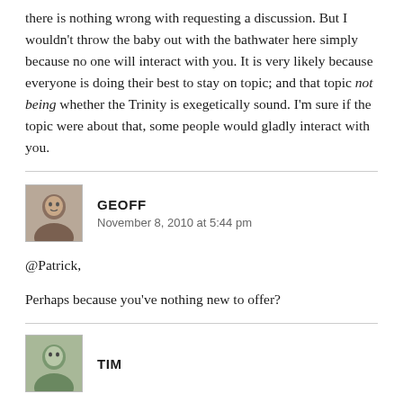there is nothing wrong with requesting a discussion. But I wouldn't throw the baby out with the bathwater here simply because no one will interact with you. It is very likely because everyone is doing their best to stay on topic; and that topic not being whether the Trinity is exegetically sound. I'm sure if the topic were about that, some people would gladly interact with you.
GEOFF
November 8, 2010 at 5:44 pm
@Patrick,
Perhaps because you've nothing new to offer?
TIM